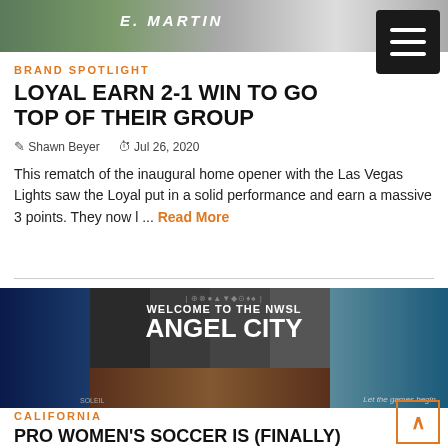[Figure (photo): Sports photo showing player with 'E. MARTIN' jersey in green uniform]
BRAND SPOTLIGHT
LOYAL EARN 2-1 WIN TO GO TOP OF THEIR GROUP
Shawn Beyer   Jul 26, 2020
This rematch of the inaugural home opener with the Las Vegas Lights saw the Loyal put in a solid performance and earn a massive 3 points. They now l ...  Read More
[Figure (photo): NWSL Angel City FC announcement graphic with text 'WELCOME TO THE NWSL ANGEL CITY' and player photos. Caption reads 'Let the games begin.']
CALIFORNIA
PRO WOMEN'S SOCCER IS (FINALLY) COMING TO SOCAL